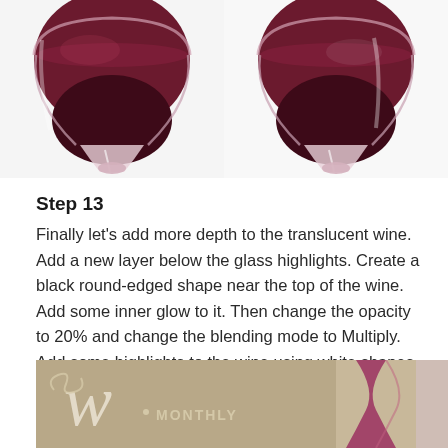[Figure (photo): Two wine glasses side by side showing red wine from above, cropped at the bottom of the bowl/stem junction. Left glass and right glass both contain dark red wine with glass highlights.]
Step 13
Finally let’s add more depth to the translucent wine. Add a new layer below the glass highlights. Create a black round-edged shape near the top of the wine. Add some inner glow to it. Then change the opacity to 20% and change the blending mode to Multiply. Add some highlights to the wine using white shapes with the blending mode set to Overlay. Don’t forget to add some Gaussian blur to soften the effect.
[Figure (photo): Bottom portion of a magazine or advertisement image showing a tan/beige background with a decorative cursive W logo and the text MONTHLY, plus a partial wine glass silhouette on the right side.]